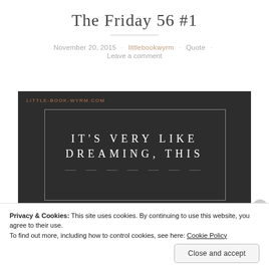The Friday 56 #1
November 20, 2015 · littlebookwyrm · Quote · Leave a comment
[Figure (illustration): Dark background image with white border frame containing spaced uppercase serif text: IT'S VERY LIKE DREAMING, THIS. Watermark text LITTLE-BOOK-WYRM.COM in reddish color at top left.]
Privacy & Cookies: This site uses cookies. By continuing to use this website, you agree to their use.
To find out more, including how to control cookies, see here: Cookie Policy
Close and accept